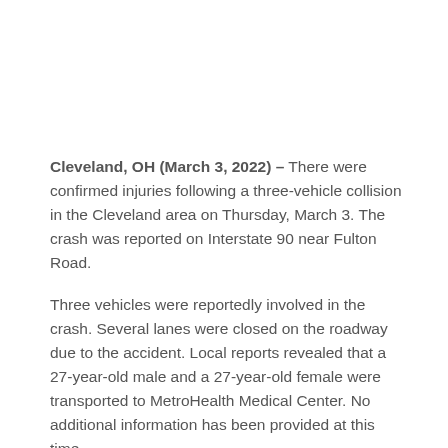Cleveland, OH (March 3, 2022) – There were confirmed injuries following a three-vehicle collision in the Cleveland area on Thursday, March 3. The crash was reported on Interstate 90 near Fulton Road.
Three vehicles were reportedly involved in the crash. Several lanes were closed on the roadway due to the accident. Local reports revealed that a 27-year-old male and a 27-year-old female were transported to MetroHealth Medical Center. No additional information has been provided at this time.
An ongoing investigation into the cause of the crash